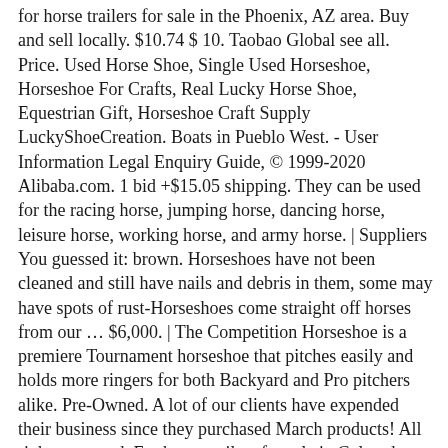for horse trailers for sale in the Phoenix, AZ area. Buy and sell locally. $10.74 $ 10. Taobao Global see all. Price. Used Horse Shoe, Single Used Horseshoe, Horseshoe For Crafts, Real Lucky Horse Shoe, Equestrian Gift, Horseshoe Craft Supply LuckyShoeCreation. Boats in Pueblo West. - User Information Legal Enquiry Guide, © 1999-2020 Alibaba.com. 1 bid +$15.05 shipping. They can be used for the racing horse, jumping horse, dancing horse, leisure horse, working horse, and army horse. | Suppliers You guessed it: brown. Horseshoes have not been cleaned and still have nails and debris in them, some may have spots of rust-Horseshoes come straight off horses from our … $6,000. | The Competition Horseshoe is a premiere Tournament horseshoe that pitches easily and holds more ringers for both Backyard and Pro pitchers alike. Pre-Owned. A lot of our clients have expended their business since they purchased March products! All rights reserved. For horse trailers for sale in Colorado, visit True Value Trailers & Power Equipment. Used horseshoes for sale, Fresno, California. 2 horse shoes, used, and rusty from Montana Ranches. Discover New & Used Bits and Spurs Horse Tack for sale on America's biggest equine marketplace. Some of the technologies we use are necessary for critical functions like security and site integrity, account authentication, security and privacy preferences, internal site usage and maintenance data, and to make the site work correctly for browsing and transactions. Free shipping. Browse photos and